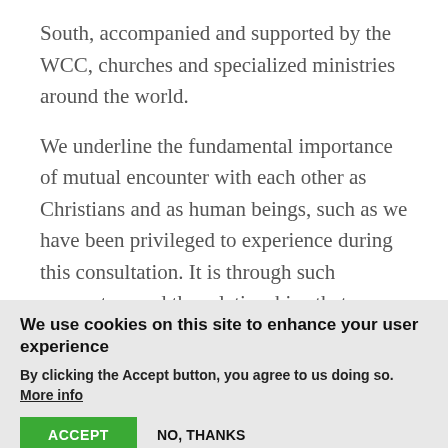South, accompanied and supported by the WCC, churches and specialized ministries around the world.
We underline the fundamental importance of mutual encounter with each other as Christians and as human beings, such as we have been privileged to experience during this consultation. It is through such encounters and the relationships that we foster, on the basis of
We use cookies on this site to enhance your user experience
By clicking the Accept button, you agree to us doing so. More info
ACCEPT
NO, THANKS